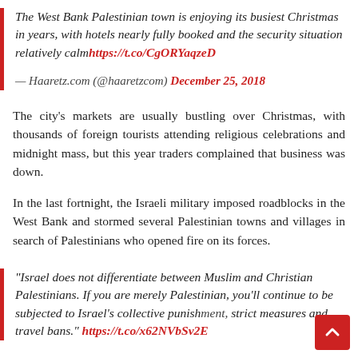The West Bank Palestinian town is enjoying its busiest Christmas in years, with hotels nearly fully booked and the security situation relatively calm https://t.co/CgORYaqzeD
— Haaretz.com (@haaretzcom) December 25, 2018
The city's markets are usually bustling over Christmas, with thousands of foreign tourists attending religious celebrations and midnight mass, but this year traders complained that business was down.
In the last fortnight, the Israeli military imposed roadblocks in the West Bank and stormed several Palestinian towns and villages in search of Palestinians who opened fire on its forces.
"Israel does not differentiate between Muslim and Christian Palestinians. If you are merely Palestinian, you'll continue to be subjected to Israel's collective punishment, strict measures and travel bans." https://t.co/x62NVbSv2E